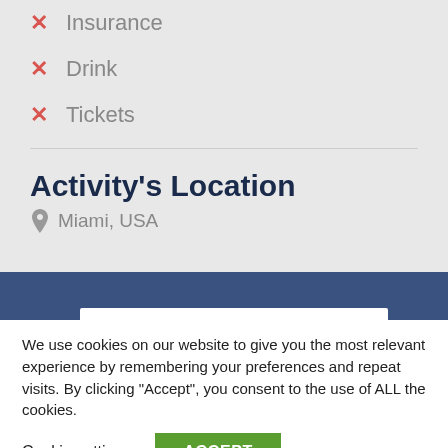✕ Insurance
✕ Drink
✕ Tickets
Activity's Location
Miami, USA
[Figure (screenshot): Google Maps bar partially visible]
We use cookies on our website to give you the most relevant experience by remembering your preferences and repeat visits. By clicking "Accept", you consent to the use of ALL the cookies.
Cookie settings  ACCEPT